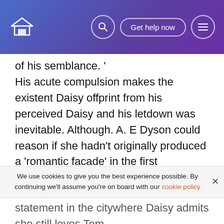[Navigation bar with logo, search icon, Get help now button, menu icon]
of his semblance. '
His acute compulsion makes the existent Daisy offprint from his perceived Daisy and his letdown was inevitable. Although. A. E Dyson could reason if she hadn't originally produced a 'romantic facade' in the first topographic point Gatsby would non hold fixated on her and potentially found a appropriately echt spouse. but realistically Gatsby was ever interested in the image non the adult female. Fitzgerald uses her as a symbol of the monied category and it is money and category image Gatsby fixates on. instead than substance. The novels decision is inevitable ; it is
We use cookies to give you the best experience possible. By continuing we'll assume you're on board with our cookie policy
statement in the citywhere Daisy admits she still loves Tom.